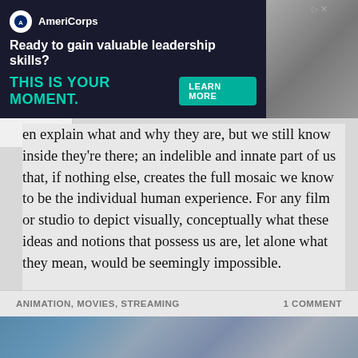[Figure (screenshot): AmeriCorps advertisement banner: dark navy background with AmeriCorps logo, headline 'Ready to gain valuable leadership skills?', subheadline 'THIS IS YOUR MOMENT.' in teal, 'LEARN MORE' button, and photo of people on the right.]
en explain what and why they are, but we still know inside they're there; an indelible and innate part of us that, if nothing else, creates the full mosaic we know to be the individual human experience. For any film or studio to depict visually, conceptually what these ideas and notions that possess us are, let alone what they mean, would be seemingly impossible.
Then there's Pixar, who comes along and says, "Hold my beer!" Thus, we now have Soul.
Continue reading
ANIMATION, MOVIES, STREAMING    1 COMMENT